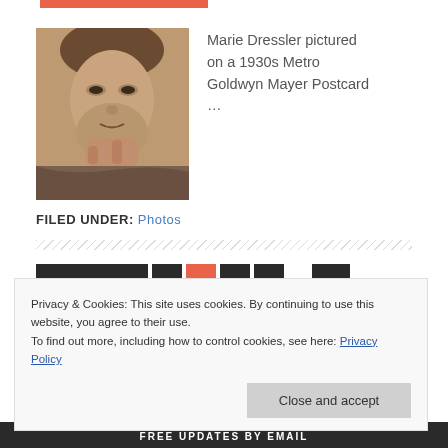[Figure (photo): Red decorative bar at top of page]
[Figure (photo): Black and white / sepia portrait photograph of Marie Dressler, a woman resting her chin on her hands, looking at the camera]
Marie Dressler pictured on a 1930s Metro Goldwyn Mayer Postcard …
FILED UNDER: Photos
Privacy & Cookies: This site uses cookies. By continuing to use this website, you agree to their use. To find out more, including how to control cookies, see here: Privacy Policy
Close and accept
FREE UPDATES BY EMAIL